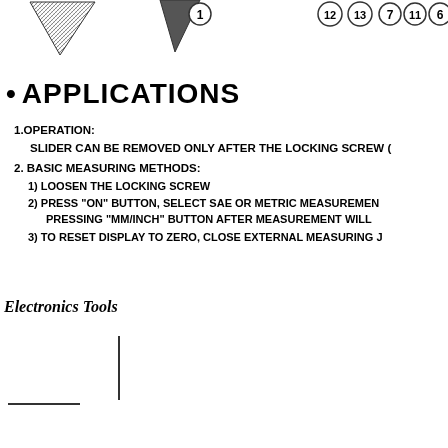[Figure (illustration): Partial diagram showing numbered components (circled numbers: 1, 12, 13, 7, 11, 6) with triangular/wedge shaped parts at the top of the page.]
• APPLICATIONS
1.OPERATION:
   SLIDER CAN BE REMOVED ONLY AFTER THE LOCKING SCREW (
2. BASIC MEASURING METHODS:
1) LOOSEN THE LOCKING SCREW
2) PRESS "ON" BUTTON, SELECT SAE OR METRIC MEASUREMEN
   PRESSING "MM/INCH" BUTTON AFTER MEASUREMENT WILL
3) TO RESET DISPLAY TO ZERO, CLOSE EXTERNAL MEASURING J
Electronics Tools